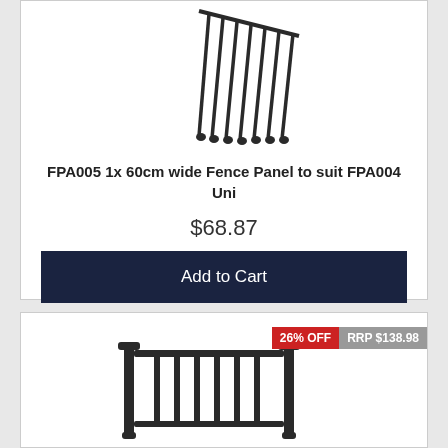[Figure (photo): Top portion of a dark/black metal fence panel product image, showing vertical bars at an angle with rubber feet at the bottom]
FPA005 1x 60cm wide Fence Panel to suit FPA004 Uni
$68.87
Add to Cart
[Figure (photo): Black metal fence/gate panel with two vertical side posts and horizontal top bar, shown with discount badges: 26% OFF and RRP $138.98]